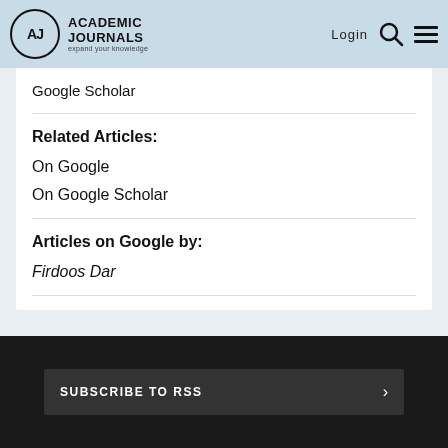Academic Journals — expand your knowledge | Login
Google Scholar
Related Articles:
On Google
On Google Scholar
Articles on Google by:
Firdoos Dar
SUBSCRIBE TO RSS